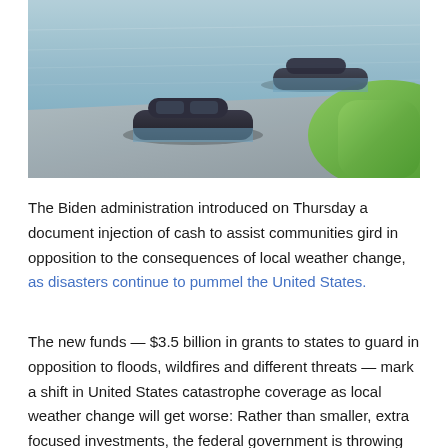[Figure (photo): Two dark-colored cars partially submerged in floodwater on a flooded road, with green grass visible on the right side.]
The Biden administration introduced on Thursday a document injection of cash to assist communities gird in opposition to the consequences of local weather change, as disasters continue to pummel the United States.
The new funds — $3.5 billion in grants to states to guard in opposition to floods, wildfires and different threats — mark a shift in United States catastrophe coverage as local weather change will get worse: Rather than smaller, extra focused investments, the federal government is throwing big sums of